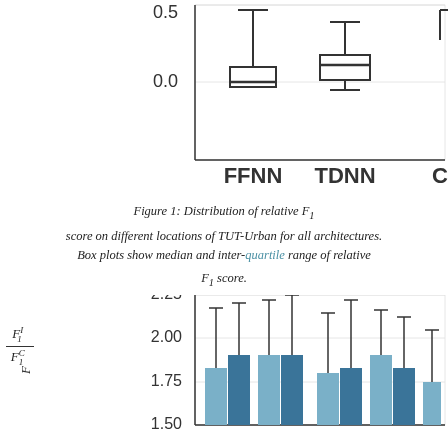[Figure (continuous-plot): Top portion of a box plot showing distribution of relative F1 score. Y-axis shows values 0.0 and 0.5. X-axis shows architecture labels FFNN, TDNN, and CN (partially visible). FFNN box has median near 0.0 with whisker up to ~0.5. TDNN box has median ~0.2 with whiskers. CN partially visible on right edge.]
Figure 1: Distribution of relative F1 score on different locations of TUT-Urban for all architectures. Box plots show median and inter-quartile range of relative F1 score.
[Figure (bar-chart): Bottom portion of a grouped bar chart showing relative F1 scores (F1^I / F1^C) for different architectures. Y-axis shows values 1.50, 1.75, 2.00, 2.25. Multiple grouped bars visible with error bars, colors are light blue and dark blue/teal. X-axis partially visible.]